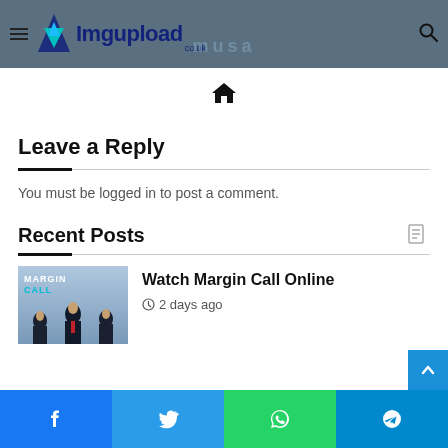Imgupload.co.uk - header navigation
[Figure (logo): Imgupload.co.uk logo with blue/teal triangular icon and bold navy text]
[Figure (other): Home icon breadcrumb navigation]
Leave a Reply
You must be logged in to post a comment.
Recent Posts
[Figure (photo): Margin Call movie poster thumbnail showing men in business suits]
Watch Margin Call Online
2 days ago
Social sharing bar: Facebook, Twitter, WhatsApp, Telegram